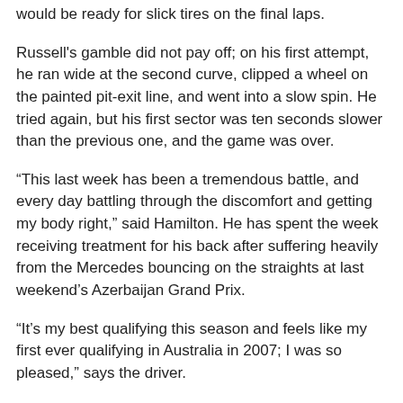would be ready for slick tires on the final laps.
Russell's gamble did not pay off; on his first attempt, he ran wide at the second curve, clipped a wheel on the painted pit-exit line, and went into a slow spin. He tried again, but his first sector was ten seconds slower than the previous one, and the game was over.
“This last week has been a tremendous battle, and every day battling through the discomfort and getting my body right,” said Hamilton. He has spent the week receiving treatment for his back after suffering heavily from the Mercedes bouncing on the straights at last weekend’s Azerbaijan Grand Prix.
“It’s my best qualifying this season and feels like my first ever qualifying in Australia in 2007; I was so pleased,” says the driver.